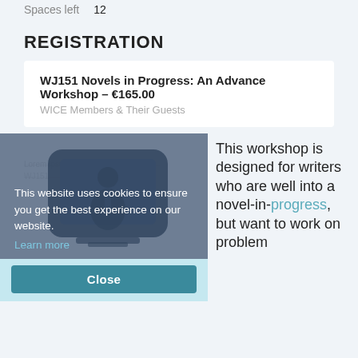Spaces left   12
REGISTRATION
| WJ151 Novels in Progress: An Advance Workshop – €165.00 | WICE Members & Their Guests |
[Figure (screenshot): Cookie consent overlay showing a monitor/screen icon with a person, cookie notice text, Learn more link, and a Close button. Text reads: This website uses cookies to ensure you get the best experience on our website. Learn more. Close button.]
This workshop is designed for writers who are well into a novel-in-progress, but want to work on problem